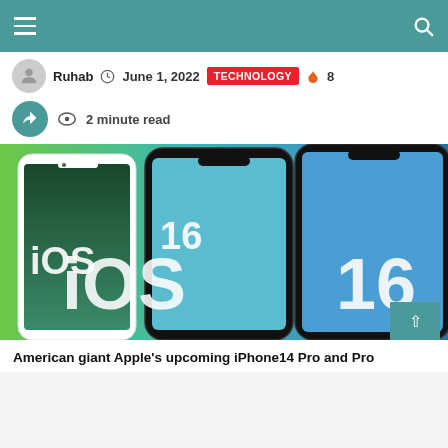Navigation bar with hamburger menu and search icon
Ruhab   June 1, 2022   TECHNOLOGY   8
2 minute read
[Figure (photo): iOS 16 promotional image showing two iPhones with iOS 16 text overlay on a green and blue gradient background]
American giant Apple's upcoming iPhone14 Pro and Pro